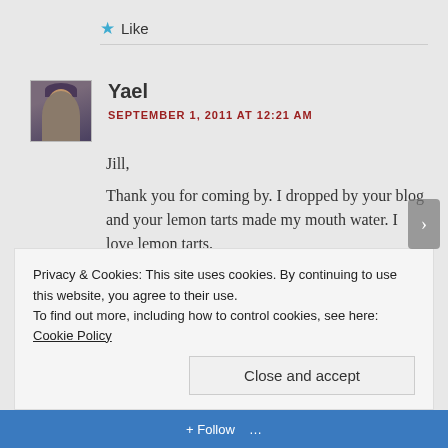★ Like
[Figure (photo): Avatar photo of commenter Yael — small portrait showing a person wearing a hat]
Yael
SEPTEMBER 1, 2011 AT 12:21 AM
Jill,
Thank you for coming by. I dropped by your blog and your lemon tarts made my mouth water. I love lemon tarts.
Privacy & Cookies: This site uses cookies. By continuing to use this website, you agree to their use.
To find out more, including how to control cookies, see here: Cookie Policy
Close and accept
Follow